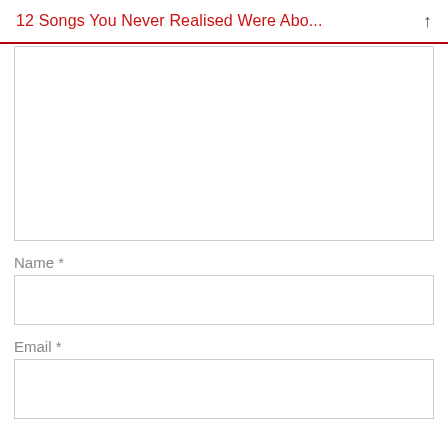12 Songs You Never Realised Were Abo...
[Figure (other): Comment text area input box (empty), with resize handle in bottom-right corner]
Name *
[Figure (other): Name input text field (empty)]
Email *
[Figure (other): Email input text field (empty)]